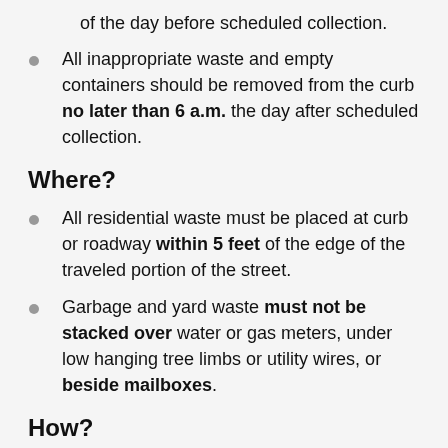of the day before scheduled collection.
All inappropriate waste and empty containers should be removed from the curb no later than 6 a.m. the day after scheduled collection.
Where?
All residential waste must be placed at curb or roadway within 5 feet of the edge of the traveled portion of the street.
Garbage and yard waste must not be stacked over water or gas meters, under low hanging tree limbs or utility wires, or beside mailboxes.
How?
For the safety of our collection crews, all broken glass must be wrapped and sealed in